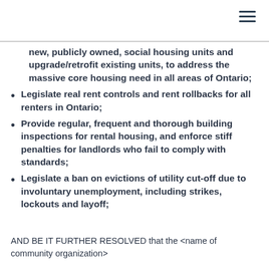new, publicly owned, social housing units and upgrade/retrofit existing units, to address the massive core housing need in all areas of Ontario;
Legislate real rent controls and rent rollbacks for all renters in Ontario;
Provide regular, frequent and thorough building inspections for rental housing, and enforce stiff penalties for landlords who fail to comply with standards;
Legislate a ban on evictions of utility cut-off due to involuntary unemployment, including strikes, lockouts and layoff;
AND BE IT FURTHER RESOLVED that the <name of community organization>